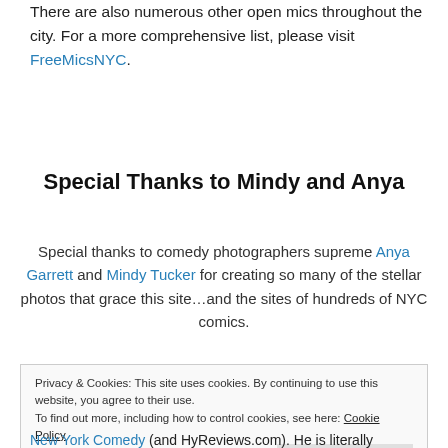There are also numerous other open mics throughout the city. For a more comprehensive list, please visit FreeMicsNYC.
Special Thanks to Mindy and Anya
Special thanks to comedy photographers supreme Anya Garrett and Mindy Tucker for creating so many of the stellar photos that grace this site…and the sites of hundreds of NYC comics.
Privacy & Cookies: This site uses cookies. By continuing to use this website, you agree to their use. To find out more, including how to control cookies, see here: Cookie Policy
New York Comedy (and HyReviews.com). He is literally